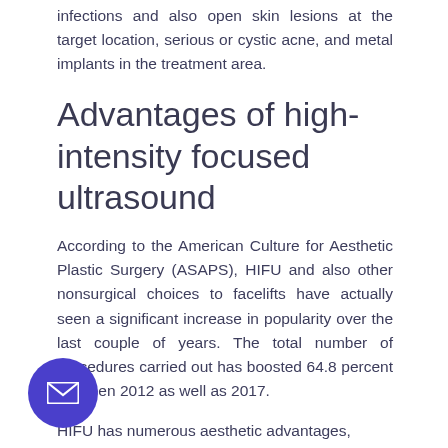infections and also open skin lesions at the target location, serious or cystic acne, and metal implants in the treatment area.
Advantages of high-intensity focused ultrasound
According to the American Culture for Aesthetic Plastic Surgery (ASAPS), HIFU and also other nonsurgical choices to facelifts have actually seen a significant increase in popularity over the last couple of years. The total number of procedures carried out has boosted 64.8 percent between 2012 as well as 2017.
HIFU has numerous aesthetic advantages, consisting of:
wrinkle reduction